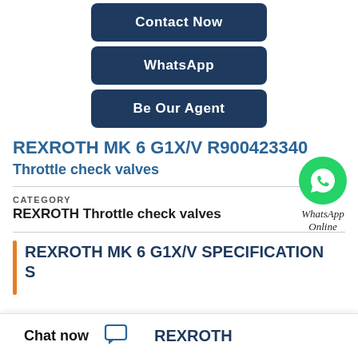[Figure (screenshot): Three dark navy blue buttons stacked: Contact Now, WhatsApp, Be Our Agent]
REXROTH MK 6 G1X/V R900423340
Throttle check valves
[Figure (logo): WhatsApp green circle logo icon with phone handset, labeled WhatsApp Online]
CATEGORY
REXROTH Throttle check valves
REXROTH MK 6 G1X/V SPECIFICATIONS
Chat now
REXROTH